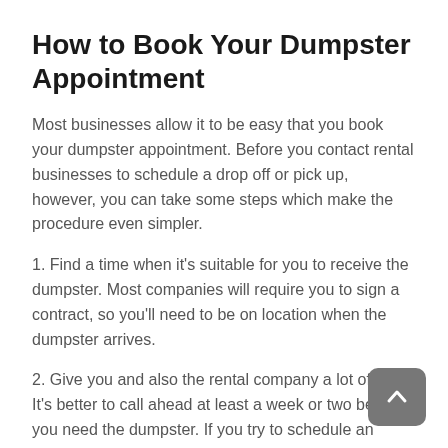How to Book Your Dumpster Appointment
Most businesses allow it to be easy that you book your dumpster appointment. Before you contact rental businesses to schedule a drop off or pick up, however, you can take some steps which make the procedure even simpler.
1. Find a time when it's suitable for you to receive the dumpster. Most companies will require you to sign a contract, so you'll need to be on location when the dumpster arrives.
2. Give you and also the rental company a lot of time. It's better to call ahead at least a week or two before you need the dumpster. If you try to schedule an appointment earlier than that, you might have a restricted variety.
3. Keep in contact with the rental company. If anything changes in your schedule, contact the firm as soon as possible to permit